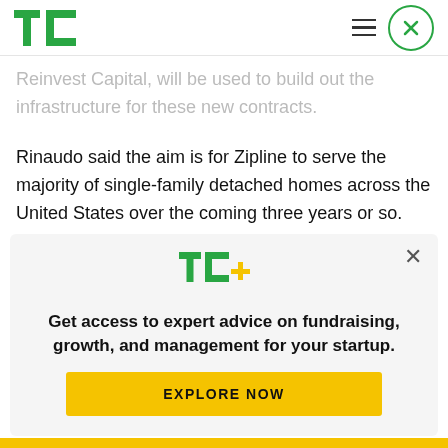TechCrunch - TC logo with hamburger menu and close button
Reinvest Capital, will be used to build out the infrastructure for these new contracts.
Rinaudo said the aim is for Zipline to serve the majority of single-family detached homes across the United States over the coming three years or so.
“The fact that so many big companies like Toyota
[Figure (logo): TechCrunch TC+ logo in green and yellow]
Get access to expert advice on fundraising, growth, and management for your startup.
EXPLORE NOW